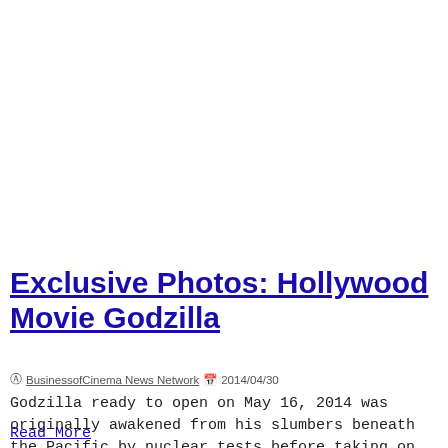PHOTOS
Exclusive Photos: Hollywood Movie Godzilla
BusinessofCinema News Network  2014/04/30
Godzilla ready to open on May 16, 2014 was originally awakened from his slumbers beneath the Pacific by nuclear tests before taking on mankind....
Read More